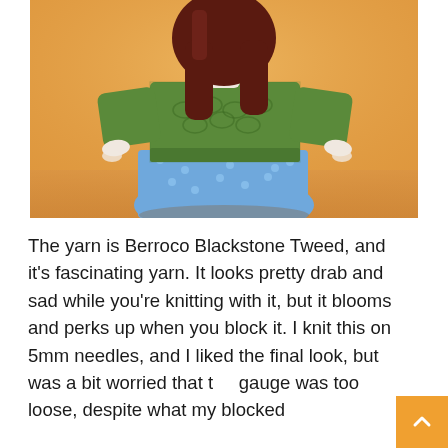[Figure (photo): A woman with long dark red hair seen from behind, wearing a green lace knitted cardigan/sweater and a blue polka-dot skirt, posed against a warm yellow/orange background with hands on hips.]
The yarn is Berroco Blackstone Tweed, and it's fascinating yarn. It looks pretty drab and sad while you're knitting with it, but it blooms and perks up when you block it. I knit this on 5mm needles, and I liked the final look, but was a bit worried that the gauge was too loose, despite what my blocked